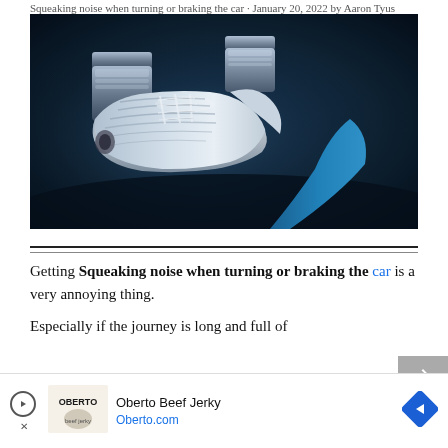Squeaking noise when turning or braking the car · January 20, 2022 by Aaron Tyus
[Figure (photo): Close-up photo of a sneaker/shoe pressing down on a car brake pedal, dark blue-toned interior lighting]
Getting Squeaking noise when turning or braking the car is a very annoying thing. Especially if the journey is long and full of
[Figure (other): Advertisement: Oberto Beef Jerky - Oberto.com, with play button, close button, Oberto logo, and navigation arrow diamond icon]